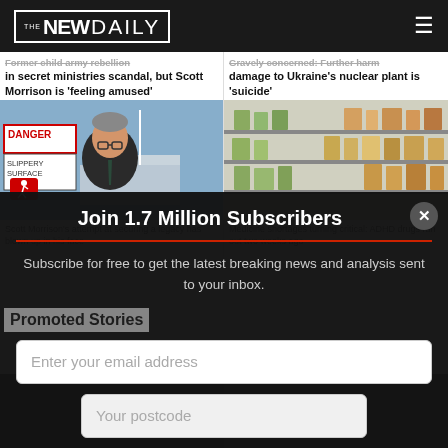THE NEW DAILY
Former child army rebellion in secret ministries scandal, but Scott Morrison is 'feeling amused'
Gravely concerned: Further harm damage to Ukraine's nuclear plant is 'suicide'
[Figure (photo): Scott Morrison standing in front of Parliament House with a 'Danger Slippery Surface' sign in the foreground]
[Figure (photo): Pharmacy shelves with medicine boxes, mostly empty or sparse]
Scott Morrison's attempt at securing a legacy has blown up in his face
Medicine shortages turning critical: ADHD drugs ran out two weeks ago
Join 1.7 Million Subscribers
Subscribe for free to get the latest breaking news and analysis sent to your inbox.
Promoted Stories
Enter your email address
Your postcode
Subscribe